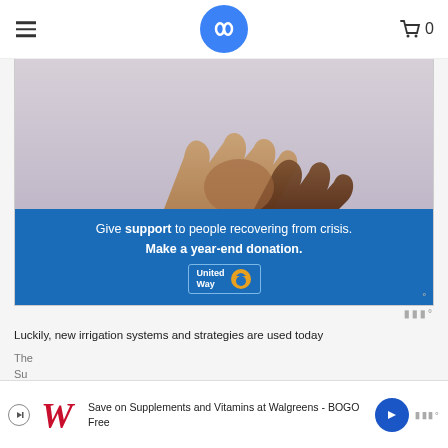Navigation header with hamburger menu, infinity loop logo, cart icon with 0
[Figure (photo): United Way advertisement banner: photo of two hands holding (one lighter, one darker skin tone) against a blurred sky background, with blue text panel reading 'Give support to people recovering from crisis. Make a year-end donation.' and United Way logo badge.]
Luckily, new irrigation systems and strategies are used today
[Figure (other): Walgreens advertisement banner at bottom: 'Save on Supplements and Vitamins at Walgreens - BOGO Free' with Walgreens cursive W logo, play button, blue arrow, and Moat logo watermark.]